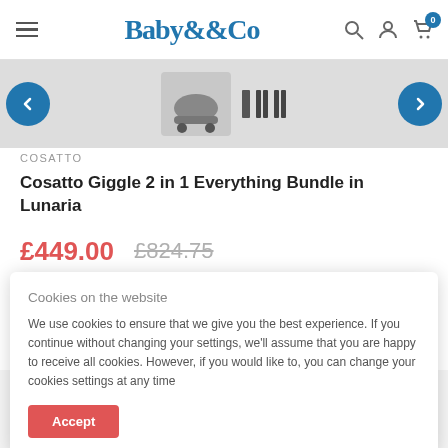Baby&Co
[Figure (screenshot): Product image carousel showing Cosatto pram/stroller product with left and right navigation arrows]
COSATTO
Cosatto Giggle 2 in 1 Everything Bundle in Lunaria
£449.00  £824.75
Cookies on the website
We use cookies to ensure that we give you the best experience. If you continue without changing your settings, we'll assume that you are happy to receive all cookies. However, if you would like to, you can change your cookies settings at any time
Accept